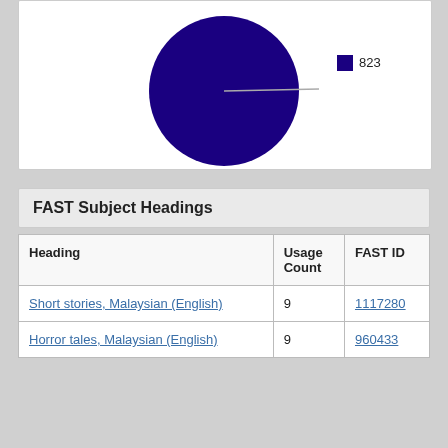[Figure (pie-chart): Pie chart showing a single dominant dark blue segment labeled 823, nearly full circle with a thin line separating a tiny slice.]
FAST Subject Headings
| Heading | Usage Count | FAST ID |
| --- | --- | --- |
| Short stories, Malaysian (English) | 9 | 1117280 |
| Horror tales, Malaysian (English) | 9 | 960433 |